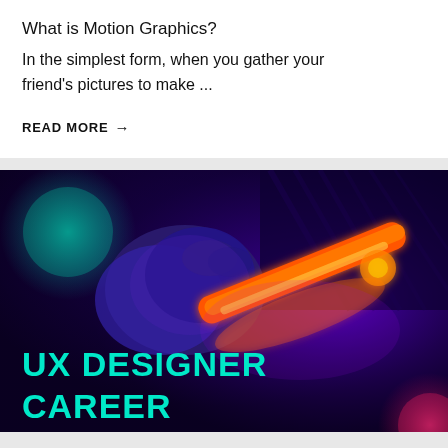What is Motion Graphics?
In the simplest form, when you gather your friend's pictures to make ...
READ MORE →
[Figure (photo): Dark UV-lit photo of a gloved hand holding a glowing orange fluorescent tube/light with purple and teal background. Text overlay reads 'UX DESIGNER CAREER' in bold teal/cyan capital letters.]